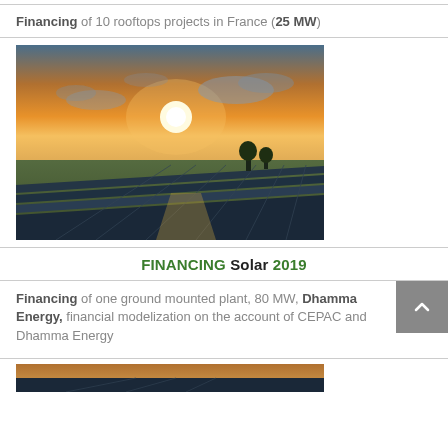Financing of 10 rooftops projects in France (25 MW)
[Figure (photo): Solar panels in a field at sunset with orange sky and clouds]
FINANCING Solar 2019
Financing of one ground mounted plant, 80 MW, Dhamma Energy, financial modelization on the account of CEPAC and Dhamma Energy
[Figure (photo): Partial view of solar panels at bottom of page]